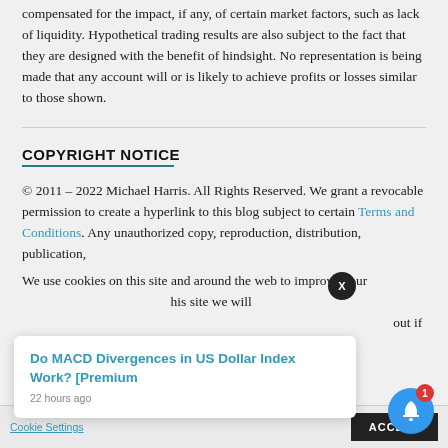compensated for the impact, if any, of certain market factors, such as lack of liquidity. Hypothetical trading results are also subject to the fact that they are designed with the benefit of hindsight. No representation is being made that any account will or is likely to achieve profits or losses similar to those shown.
COPYRIGHT NOTICE
© 2011 – 2022 Michael Harris. All Rights Reserved. We grant a revocable permission to create a hyperlink to this blog subject to certain Terms and Conditions. Any unauthorized copy, reproduction, distribution, publication,
We use cookies on this site and around the web to improve your
[Figure (screenshot): Cookie consent popup with article teaser 'Do MACD Divergences in US Dollar Index Work? [Premium' posted 22 hours ago, an X close button, cookie bar with Cookie Settings and ACCEPT button, and a notification bell with badge showing 1.]